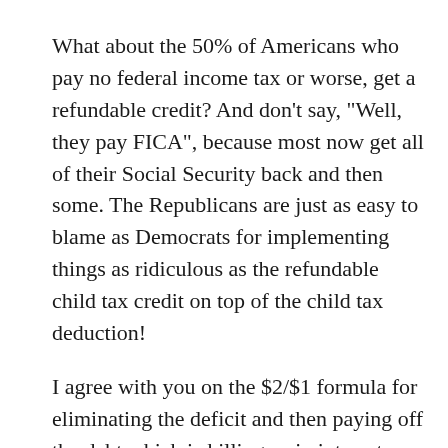What about the 50% of Americans who pay no federal income tax or worse, get a refundable credit?  And don't say, "Well, they pay FICA", because most now get all of their Social Security back and then some.  The Republicans are just as easy to blame as Democrats for implementing things as ridiculous as the refundable child tax credit on top of the child tax deduction!
I agree with you on the $2/$1 formula for eliminating the deficit and then paying off the debt which is killing us in interest. Let's hope the vaunted "debt commission" is serious and looks at entitlement reform. Items one and two should be public...